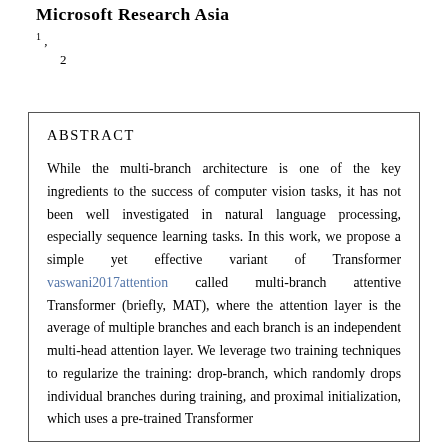Microsoft Research Asia
1
,
    2
ABSTRACT
While the multi-branch architecture is one of the key ingredients to the success of computer vision tasks, it has not been well investigated in natural language processing, especially sequence learning tasks. In this work, we propose a simple yet effective variant of Transformer vaswani2017attention called multi-branch attentive Transformer (briefly, MAT), where the attention layer is the average of multiple branches and each branch is an independent multi-head attention layer. We leverage two training techniques to regularize the training: drop-branch, which randomly drops individual branches during training, and proximal initialization, which uses a pre-trained Transformer